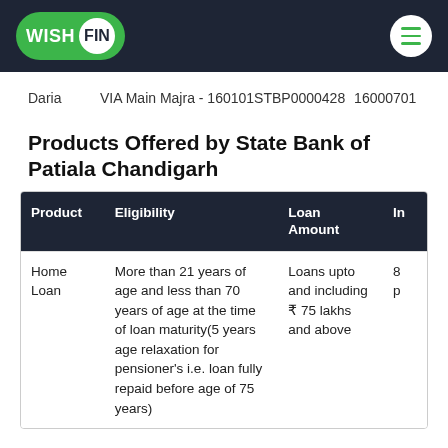WISH FIN [logo] [hamburger menu]
Daria   VIA Main Majra - 160101   STBP0000428   16000701
Products Offered by State Bank of Patiala Chandigarh
| Product | Eligibility | Loan Amount | In |
| --- | --- | --- | --- |
| Home Loan | More than 21 years of age and less than 70 years of age at the time of loan maturity(5 years age relaxation for pensioner's i.e. loan fully repaid before age of 75 years) | Loans upto and including ₹ 75 lakhs and above | 8
p |